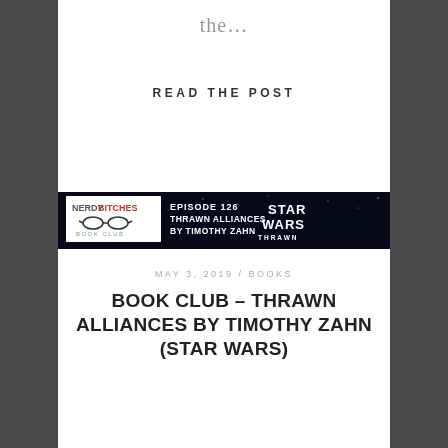the…
READ THE POST
[Figure (screenshot): Nerdy Bitches Book Club podcast cover art for Episode 126: Thrawn Alliances by Timothy Zahn, featuring Star Wars Thrawn Alliances imagery with characters and lightsabers on a space background. Comicpalooza branding in bottom left.]
MAY 3, 2019 / BOOKS
BOOK CLUB – THRAWN ALLIANCES BY TIMOTHY ZAHN (STAR WARS)